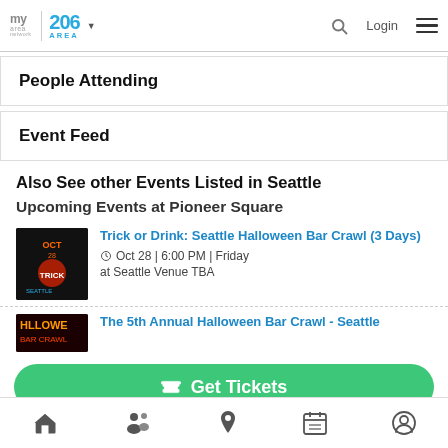myarea network | 206 AREA | Login
People Attending
Event Feed
Also See other Events Listed in Seattle
Upcoming Events at Pioneer Square
Trick or Drink: Seattle Halloween Bar Crawl (3 Days)
Oct 28 | 6:00 PM | Friday
at Seattle Venue TBA
The 5th Annual Halloween Bar Crawl - Seattle
Get Tickets
Home | People | Location | Calendar | Profile